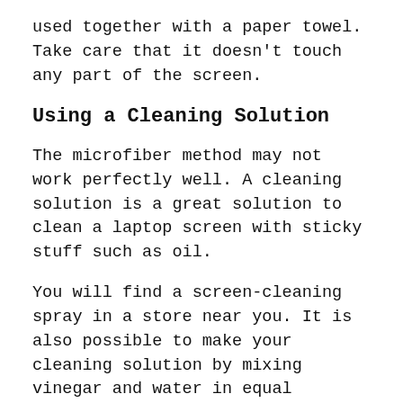used together with a paper towel. Take care that it doesn't touch any part of the screen.
Using a Cleaning Solution
The microfiber method may not work perfectly well. A cleaning solution is a great solution to clean a laptop screen with sticky stuff such as oil.
You will find a screen-cleaning spray in a store near you. It is also possible to make your cleaning solution by mixing vinegar and water in equal ratios. The alternative is to combine isopropyl alcohol and water in the same proportions.